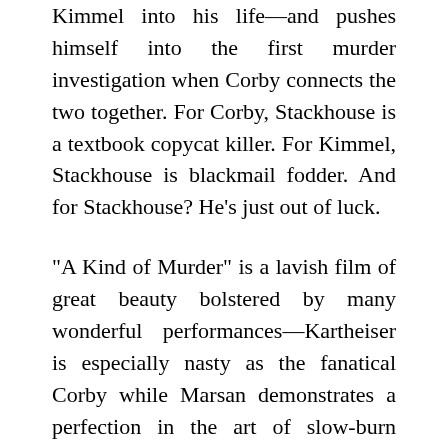Kimmel into his life—and pushes himself into the first murder investigation when Corby connects the two together. For Corby, Stackhouse is a textbook copycat killer. For Kimmel, Stackhouse is blackmail fodder. And for Stackhouse? He's just out of luck.
“A Kind of Murder” is a lavish film of great beauty bolstered by many wonderful performances—Kartheiser is especially nasty as the fanatical Corby while Marsan demonstrates a perfection in the art of slow-burn intensity. But I never felt fully engaged watching it. It builds suspense without generating any authentic tension until the very end when everything is resolved in an underwhelming